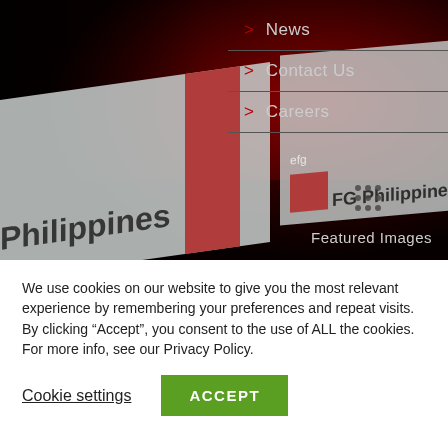[Figure (photo): Dark red background with blurred photographs of FG Philippines signage/placards, showing text 'Philippines is a' and 'FG Philippines' logos]
> News
> Contact Us
> Careers
Featured Images
We use cookies on our website to give you the most relevant experience by remembering your preferences and repeat visits. By clicking "Accept", you consent to the use of ALL the cookies. For more info, see our Privacy Policy.
Cookie settings
ACCEPT